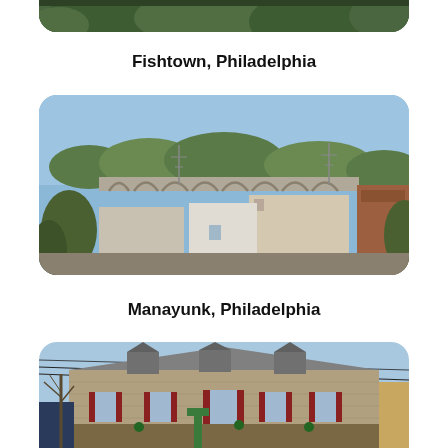[Figure (photo): Partial cropped top of a photo showing trees/foliage, associated with Fishtown, Philadelphia]
Fishtown, Philadelphia
[Figure (photo): Aerial/elevated view of Manayunk neighborhood in Philadelphia showing rooftops, a large arched viaduct/bridge in the background, and trees under a blue sky]
Manayunk, Philadelphia
[Figure (photo): Street-level view of a historic stone building with dormers and red shutters, decorated with holiday wreaths, with utility lines crossing in the sky above — likely Chestnut Hill, Philadelphia]